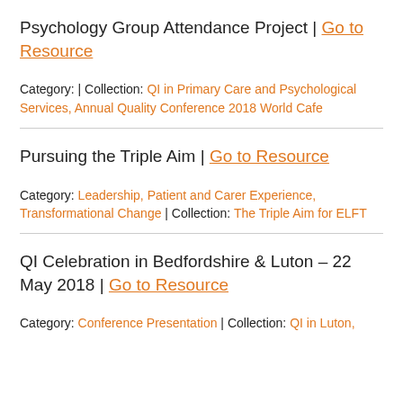Psychology Group Attendance Project | Go to Resource
Category: | Collection: QI in Primary Care and Psychological Services, Annual Quality Conference 2018 World Cafe
Pursuing the Triple Aim | Go to Resource
Category: Leadership, Patient and Carer Experience, Transformational Change | Collection: The Triple Aim for ELFT
QI Celebration in Bedfordshire & Luton – 22 May 2018 | Go to Resource
Category: Conference Presentation | Collection: QI in Luton,